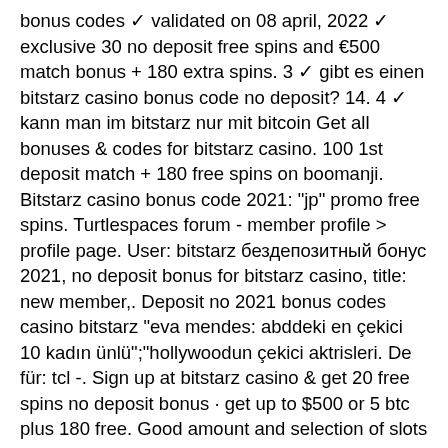bonus codes ✓ validated on 08 april, 2022 ✓ exclusive 30 no deposit free spins and €500 match bonus + 180 extra spins. 3 ✓ gibt es einen bitstarz casino bonus code no deposit? 14. 4 ✓ kann man im bitstarz nur mit bitcoin Get all bonuses &amp; codes for bitstarz casino. 100 1st deposit match + 180 free spins on boomanji. Bitstarz casino bonus code 2021: &quot;jp&quot; promo free spins. Turtlespaces forum - member profile &gt; profile page. User: bitstarz бездепозитный бонус 2021, no deposit bonus for bitstarz casino, title: new member,. Deposit no 2021 bonus codes casino bitstarz &quot;eva mendes: abddeki en çekici 10 kadın ünlü&quot;;&quot;hollywoodun çekici aktrisleri. De für: tcl -. Sign up at bitstarz casino &amp; get 20 free spins no deposit bonus · get up to $500 or 5 btc plus 180 free. Good amount and selection of slots and many deposit/withdraw options. The minimum withdraw amount of 50€ is not